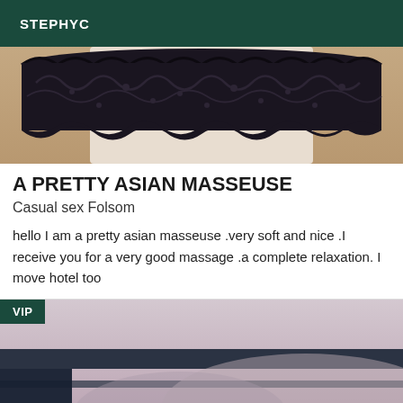STEPHYC
[Figure (photo): Close-up photo of black lace fabric/garment on a white background]
A PRETTY ASIAN MASSEUSE
Casual sex Folsom
hello I am a pretty asian masseuse .very soft and nice .I receive you for a very good massage .a complete relaxation. I move hotel too
[Figure (photo): VIP tagged photo showing an interior room scene with low lighting, partially visible figure]